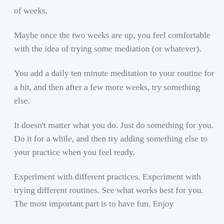of weeks.
Maybe once the two weeks are up, you feel comfortable with the idea of trying some mediation (or whatever).
You add a daily ten minute meditation to your routine for a bit, and then after a few more weeks, try something else.
It doesn't matter what you do. Just do something for you. Do it for a while, and then try adding something else to your practice when you feel ready.
Experiment with different practices. Experiment with trying different routines. See what works best for you. The most important part is to have fun. Enjoy